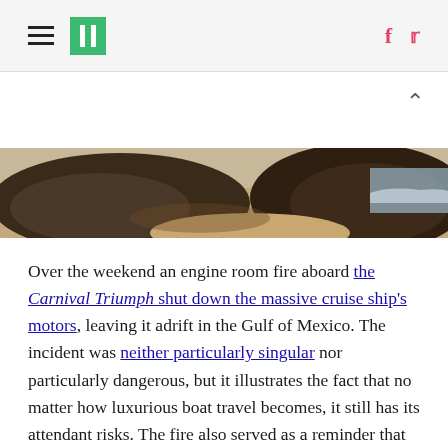HuffPost navigation with hamburger menu, logo, Facebook and Twitter icons
[Figure (photo): Photograph of a rocky beach scene with large brown/dark rocks and sandy shore, partial ocean visible]
Over the weekend an engine room fire aboard the Carnival Triumph shut down the massive cruise ship's motors, leaving it adrift in the Gulf of Mexico. The incident was neither particularly singular nor particularly dangerous, but it illustrates the fact that no matter how luxurious boat travel becomes, it still has its attendant risks. The fire also served as a reminder that cruise ships, which can seem like invisible behemoths, have stories of their own.